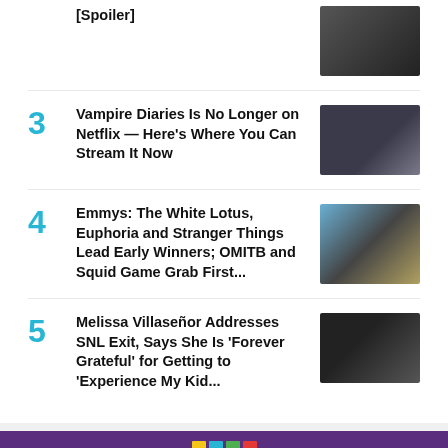[Spoiler]
3 Vampire Diaries Is No Longer on Netflix — Here's Where You Can Stream It Now
4 Emmys: The White Lotus, Euphoria and Stranger Things Lead Early Winners; OMITB and Squid Game Grab First...
5 Melissa Villaseñor Addresses SNL Exit, Says She Is 'Forever Grateful' for Getting to 'Experience My Kid...
What to Watch Today
8:00 PM
American Ninja Warrior Family